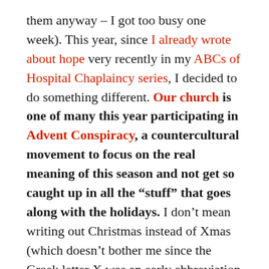them anyway – I got too busy one week). This year, since I already wrote about hope very recently in my ABCs of Hospital Chaplaincy series, I decided to do something different. Our church is one of many this year participating in Advent Conspiracy, a countercultural movement to focus on the real meaning of this season and not get so caught up in all the "stuff" that goes along with the holidays. I don't mean writing out Christmas instead of Xmas (which doesn't bother me since the Greek letter X was an early abbreviation for Christ), or wishing people Merry Christmas instead of Happy Holidays (which also doesn't bother me since people of other faiths have holidays at this time of year and I want them to be just as happy). It's about much more than what we write or